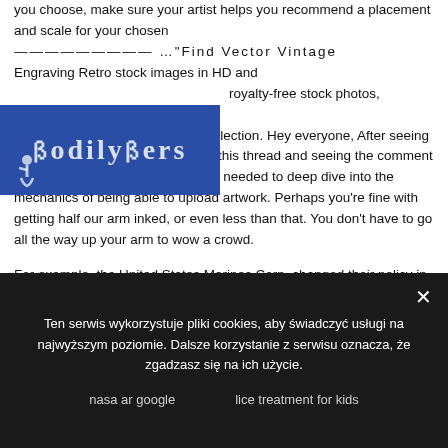you choose, make sure your artist helps you recommend a placement and scale for your chosen ————————— ..."Find Vector Vintage Engraving Retro stock images in HD and Millions of other royalty-free stock photos, illustrations and vectors in the Shutterstock collection. Hey everyone, After seeing the great work by u/Mijeman from this thread and seeing the comment from u/BurlyusMaximus, I felt like I needed to deep dive into the mechanics of being able to upload artwork. Perhaps you're fine with getting half our arm inked, or even less than that. You don't have to go all the way up your arm to wow a crowd.

For example, the United States Marines Corp. changed their policy in April 2007 to ban tattoo sleeves unless
[Figure (logo): Blue rectangular logo overlay with white decorative/gothic text and wheelchair accessibility icon]
Ten serwis wykorzystuje pliki cookies, aby świadczyć usługi na najwyższym poziomie. Dalsze korzystanie z serwisu oznacza, że zgadzasz się na ich użycie.
nasa ar google     lice treatment for kids